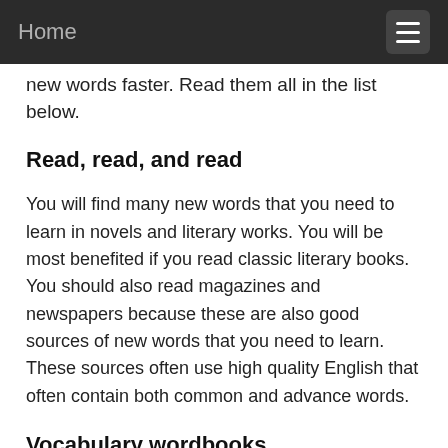Home
new words faster. Read them all in the list below.
Read, read, and read
You will find many new words that you need to learn in novels and literary works. You will be most benefited if you read classic literary books. You should also read magazines and newspapers because these are also good sources of new words that you need to learn. These sources often use high quality English that often contain both common and advance words.
Vocabulary wordbooks
In the bookshops, you will find vocabulary wordbooks that range from beginner to advance